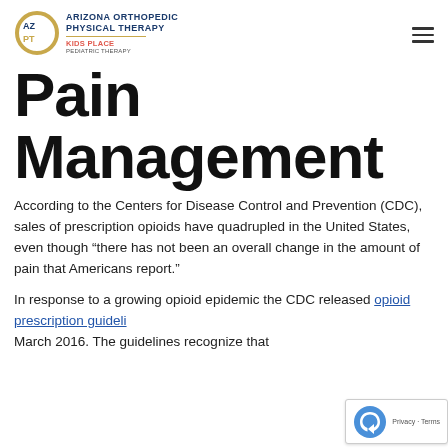Arizona Orthopedic Physical Therapy - Kids Place Pediatric Therapy
Pain Management
According to the Centers for Disease Control and Prevention (CDC), sales of prescription opioids have quadrupled in the United States, even though “there has not been an overall change in the amount of pain that Americans report.”
In response to a growing opioid epidemic the CDC released opioid prescription guidelines March 2016. The guidelines recognize that